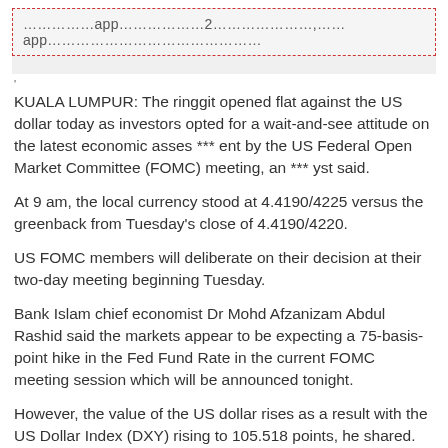……………app………………2…………………,……app………………………………………
'
KUALA LUMPUR: The ringgit opened flat against the US dollar today as investors opted for a wait-and-see attitude on the latest economic asses *** ent by the US Federal Open Market Committee (FOMC) meeting, an *** yst said.
At 9 am, the local currency stood at 4.4190/4225 versus the greenback from Tuesday's close of 4.4190/4220.
US FOMC members will deliberate on their decision at their two-day meeting beginning Tuesday.
Bank Islam chief economist Dr Mohd Afzanizam Abdul Rashid said the markets appear to be expecting a 75-basis-point hike in the Fed Fund Rate in the current FOMC meeting session which will be announced tonight.
However, the value of the US dollar rises as a result with the US Dollar Index (DXY) rising to 105.518 points, he shared.